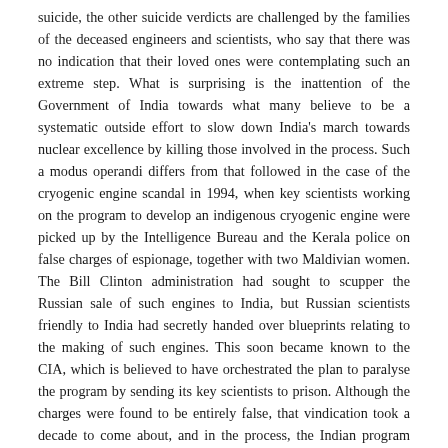suicide, the other suicide verdicts are challenged by the families of the deceased engineers and scientists, who say that there was no indication that their loved ones were contemplating such an extreme step. What is surprising is the inattention of the Government of India towards what many believe to be a systematic outside effort to slow down India's march towards nuclear excellence by killing those involved in the process. Such a modus operandi differs from that followed in the case of the cryogenic engine scandal in 1994, when key scientists working on the program to develop an indigenous cryogenic engine were picked up by the Intelligence Bureau and the Kerala police on false charges of espionage, together with two Maldivian women. The Bill Clinton administration had sought to scupper the Russian sale of such engines to India, but Russian scientists friendly to India had secretly handed over blueprints relating to the making of such engines. This soon became known to the CIA, which is believed to have orchestrated the plan to paralyse the program by sending its key scientists to prison. Although the charges were found to be entirely false, that vindication took a decade to come about, and in the process, the Indian program was slowed down by an equivalent number of years. Thus far, none of the IB or Kerala police officers who acted as the apparent catspaw of a foreign intelligence agency in slapping false charges on key scientists has suffered even a minor punishment, much less be arraigned for treason.